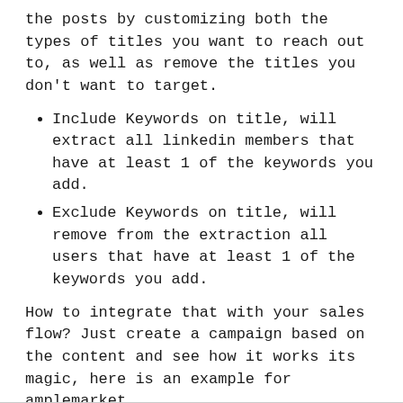the posts by customizing both the types of titles you want to reach out to, as well as remove the titles you don't want to target.
Include Keywords on title, will extract all linkedin members that have at least 1 of the keywords you add.
Exclude Keywords on title, will remove from the extraction all users that have at least 1 of the keywords you add.
How to integrate that with your sales flow? Just create a campaign based on the content and see how it works its magic, here is an example for amplemarket.
Subject line: hi #{{first_name}}, saw you #